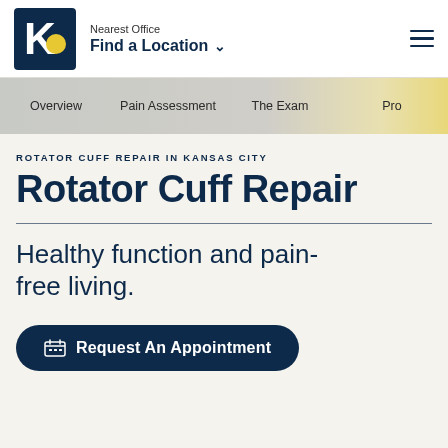Nearest Office | Find a Location
Overview | Pain Assessment | The Exam | Pro...
ROTATOR CUFF REPAIR IN KANSAS CITY
Rotator Cuff Repair
Healthy function and pain-free living.
Request An Appointment